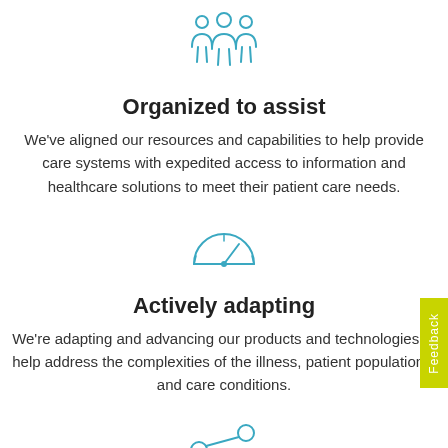[Figure (illustration): Icon of three people (group/team) in teal/blue outline style]
Organized to assist
We've aligned our resources and capabilities to help provide care systems with expedited access to information and healthcare solutions to meet their patient care needs.
[Figure (illustration): Icon of a speedometer/gauge in teal/blue outline style]
Actively adapting
We're adapting and advancing our products and technologies to help address the complexities of the illness, patient populations, and care conditions.
[Figure (illustration): Icon of a share/network node in teal/blue outline style (partially visible at bottom)]